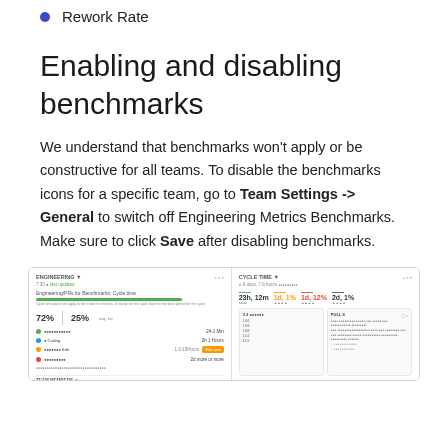Rework Rate
Enabling and disabling benchmarks
We understand that benchmarks won't apply or be constructive for all teams. To disable the benchmarks icons for a specific team, go to Team Settings -> General to switch off Engineering Metrics Benchmarks. Make sure to click Save after disabling benchmarks.
[Figure (screenshot): Screenshot of a team settings/benchmarks UI showing metrics panels including cycle time, team members, and various engineering metrics with colored indicators and an orange Save button.]